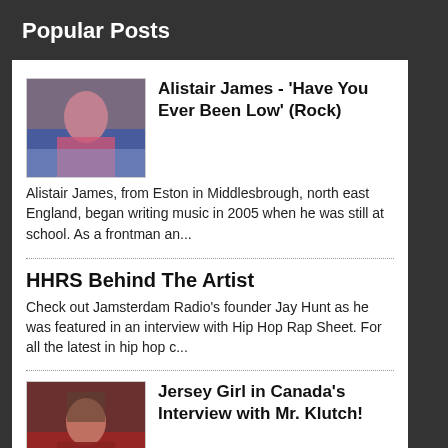Popular Posts
Alistair James - 'Have You Ever Been Low' (Rock)
Alistair James, from Eston in Middlesbrough, north east England, began writing music in 2005 when he was still at school. As a frontman an...
HHRS Behind The Artist
Check out Jamsterdam Radio's founder Jay Hunt as he was featured in an interview with Hip Hop Rap Sheet. For all the latest in hip hop c...
Jersey Girl in Canada's Interview with Mr. Klutch!
Hey readers! I've had the opportunity to interview one of Bronx, NY's hottest up-and-coming rap artists, Mr. Klutch !  He is one o...